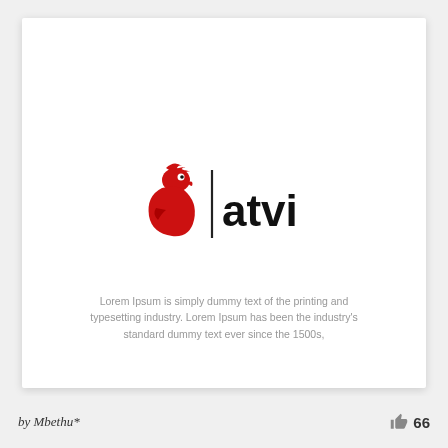[Figure (logo): Atvi logo featuring a red stylized rooster/parrot icon on the left, a vertical black divider line, and the text 'atvi' in bold black sans-serif on the right]
Lorem Ipsum is simply dummy text of the printing and typesetting industry. Lorem Ipsum has been the industry's standard dummy text ever since the 1500s,
by Mbethu*  66